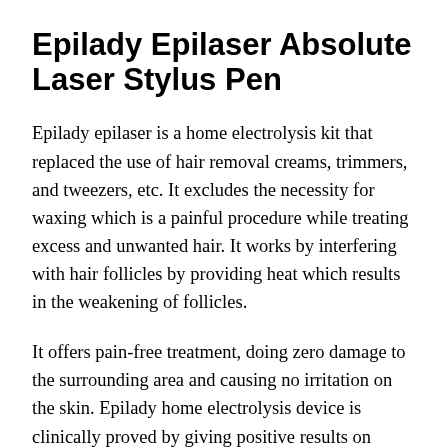Epilady Epilaser Absolute Laser Stylus Pen
Epilady epilaser is a home electrolysis kit that replaced the use of hair removal creams, trimmers, and tweezers, etc. It excludes the necessity for waxing which is a painful procedure while treating excess and unwanted hair. It works by interfering with hair follicles by providing heat which results in the weakening of follicles.
It offers pain-free treatment, doing zero damage to the surrounding area and causing no irritation on the skin. Epilady home electrolysis device is clinically proved by giving positive results on